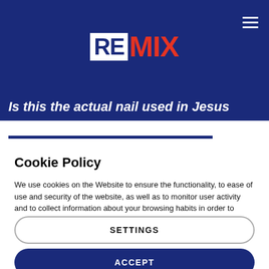[Figure (logo): REMIX logo: RE in white box on dark blue background, MIX in red text]
Is this the actual nail used in Jesus
Cookie Policy
We use cookies on the Website to ensure the functionality, to ease of use and security of the website, as well as to monitor user activity and to collect information about your browsing habits in order to make advertising relevant to you and your interests.
Clicking on "Accept" you can allow all cookies. If you would like to reject or customize, please click on "Settings".
Read more: Cookie Policy
SETTINGS
ACCEPT